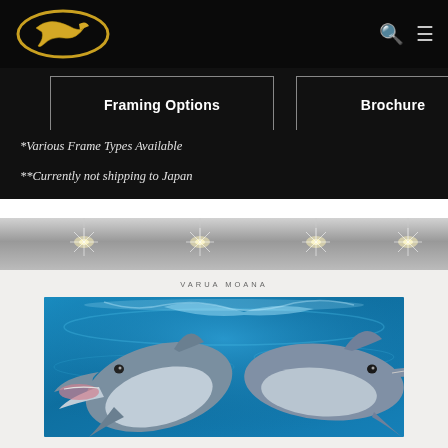[Figure (logo): Wyland or similar artist brand logo — gold dolphin ellipse on black background]
Framing Options
Brochure
*Various Frame Types Available
**Currently not shipping to Japan
[Figure (photo): Gallery interior strip showing ceiling spotlights reflecting off a polished surface]
VARUA MOANA
[Figure (photo): Two dolphins side by side in bright blue water, one with mouth open, photographed from close up]